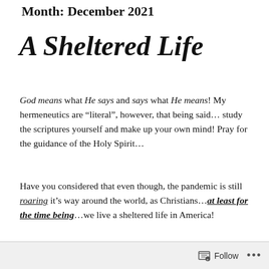Month: December 2021
A Sheltered Life
God means what He says and says what He means! My hermeneutics are “literal”, however, that being said… study the scriptures yourself and make up your own mind! Pray for the guidance of the Holy Spirit…
Have you considered that even though, the pandemic is still roaring it’s way around the world, as Christians…at least for the time being…we live a sheltered life in America!
Follow